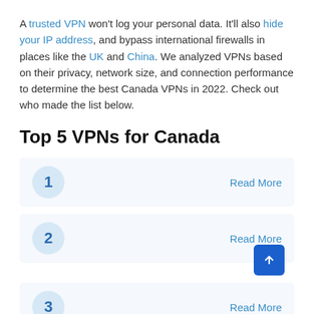A trusted VPN won't log your personal data. It'll also hide your IP address, and bypass international firewalls in places like the UK and China. We analyzed VPNs based on their privacy, network size, and connection performance to determine the best Canada VPNs in 2022. Check out who made the list below.
Top 5 VPNs for Canada
1 - Read More
2 - Read More
3 - Read More